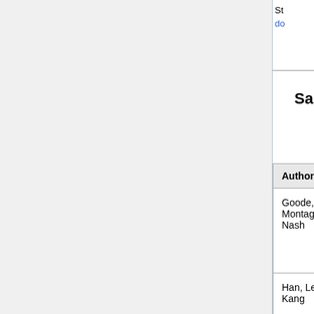Sandwich Tubes
| Author(s) | Year | Publication | ... |
| --- | --- | --- | --- |
| Goode, Montagu, & Nash | 1996 | Proceedings of the Institution of Civil Engineers | ... |
| Han, Lee & Kang | 2007 | Proceedings of the Eighth Pacific Structural Steel Conference | ... |